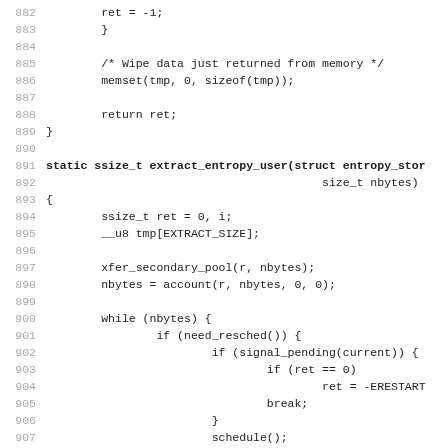Source code listing, lines 882-914, showing C function extract_entropy_user with nested while loop and error handling logic.